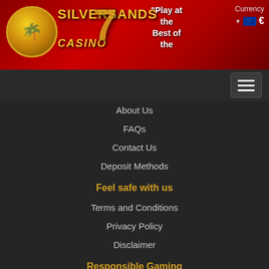[Figure (logo): SilverSands Casino logo with roulette wheel, palm tree, and golden text on a red background. A large number 7 is visible. Currency selector showing Euro (€) is in the top right. Text reads: "Play at the Best of the"]
[Figure (other): Dark navigation bar with hamburger menu icon (three horizontal lines) on the right side]
About Us
FAQs
Contact Us
Deposit Methods
Feel safe with us
Terms and Conditions
Privacy Policy
Disclaimer
Responsible Gaming
Overview
Basic Principles
Contact